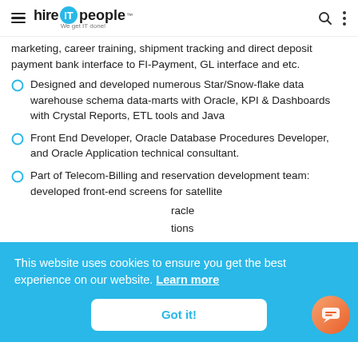hire IT people — We get IT done!
marketing, career training, shipment tracking and direct deposit payment bank interface to FI-Payment, GL interface and etc.
Designed and developed numerous Star/Snow-flake data warehouse schema data-marts with Oracle, KPI & Dashboards with Crystal Reports, ETL tools and Java
Front End Developer, Oracle Database Procedures Developer, and Oracle Application technical consultant.
Part of Telecom-Billing and reservation development team: developed front-end screens for satellite ...racle ...tions ...and ...e
ecommerce application.